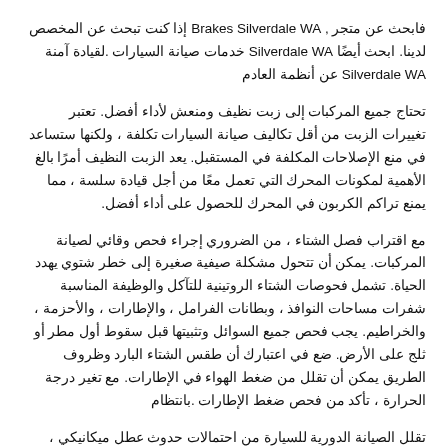فابحث عن متجر , Brakes Silverdale WA إذا كنت تبحث عن المخصص لدينا. ابحث أيضًا Silverdale WA خدمات صيانة السيارات .لقيادة آمنة Silverdale WA عن أنظمة العادم
تحتاج جميع المركبات إلى زبت نظيف ومنعش لأداء أفضل. تعتبر تغييرات الزبت من أقل تكاليف صيانة السيارات تكلفة ، ولكنها ستساعد في منع الإصلاحات المكلفة في المستقبل. يعد الزبت النظيف أمرًا بالغ الأهمية لمكونات المحرك التي تعمل معًا من أجل قيادة سلسة ، مما يمنع تراكم الكربون في المحرك للحصول على أداء أفضل.
مع اقتراب فصل الشتاء ، من الضروري إجراء فحص وقائي لصيانة المركبات. يمكن أن تتحول مشكلة صيفية صغيرة إلى خطر شتوي يهدد الحياة. تشمل فحوصات الشتاء الروتينية للتآكل والوظيفة المناسبة شفرات مساحات النوافذ ، وبطانات الفرامل ، والإطارات ، والأحزمة ، والخراطيم. يجب فحص جميع السوائل وتثبيتها قبل سقوط أول مطر أو ثلج على الأرض. ضع في اعتبارك أن طقس الشتاء البارد وظروف الطريق يمكن أن تقلل من ضغط الهواء في الإطارات. مع تغير درجة الحرارة ، تأكد من فحص ضغط الإطارات .بانتظام
تقلل الصيانة الدورية للسيارة من احتمالات حدوث عطل ميكانيكي ،